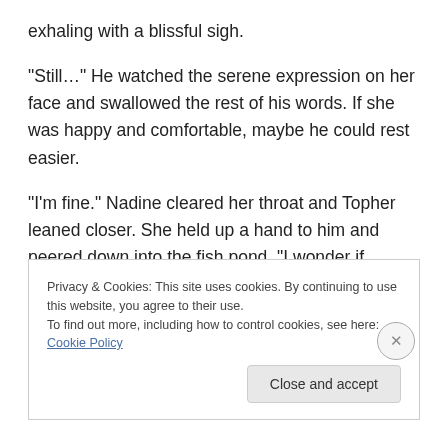exhaling with a blissful sigh.
“Still…” He watched the serene expression on her face and swallowed the rest of his words. If she was happy and comfortable, maybe he could rest easier.
“I’m fine.” Nadine cleared her throat and Topher leaned closer. She held up a hand to him and peered down into the fish pond. “I wonder if anyone’s gone fishing in there.”
Privacy & Cookies: This site uses cookies. By continuing to use this website, you agree to their use.
To find out more, including how to control cookies, see here: Cookie Policy
Close and accept